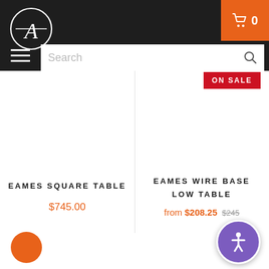Navigation header with logo, cart button (0 items), hamburger menu, and search bar
ON SALE
EAMES SQUARE TABLE
$745.00
EAMES WIRE BASE LOW TABLE
from $208.25 $245